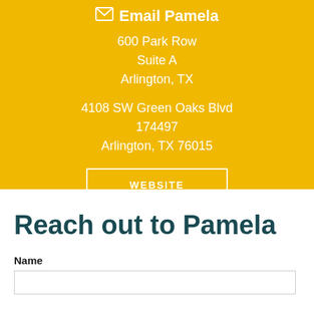✉ Email Pamela
600 Park Row
Suite A
Arlington, TX
4108 SW Green Oaks Blvd
174497
Arlington, TX 76015
WEBSITE
Reach out to Pamela
Name